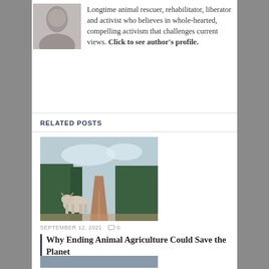[Figure (photo): Black and white portrait photo of a woman]
Longtime animal rescuer, rehabilitator, liberator and activist who believes in whole-hearted, compelling activism that challenges current views. Click to see author's profile.
RELATED POSTS
[Figure (photo): Cattle standing on a dirt road through forested landscape]
SEPTEMBER 12, 2021   0
Why Ending Animal Agriculture Could Save the Planet
[Figure (photo): Bottom thumbnail image partially visible]